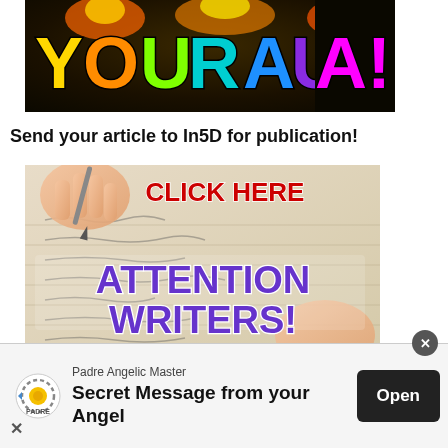[Figure (illustration): Colorful rainbow text 'YOUR AURA!' on dark background with flame effects. Letters are in yellow, orange, lime green, cyan, blue, purple, and magenta colors with black outlines.]
Send your article to In5D for publication!
[Figure (illustration): Photo of person writing with pen on paper. Over the photo: red bold text 'CLICK HERE', large purple bold text 'ATTENTION WRITERS!', and blue-purple bold text 'SUBMIT YOUR ARTICLE']
[Figure (illustration): Advertisement bar at bottom: Padre Angelic Master logo (circular sun/gear icon with arrow and 'PADRE' text), text 'Padre Angelic Master' / 'Secret Message from your Angel', and 'Open' button in dark background. Close X button at top right.]